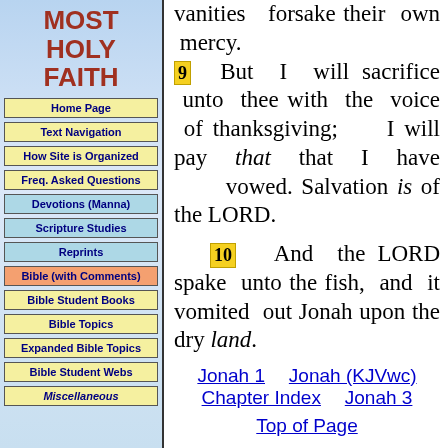MOST HOLY FAITH
Home Page
Text Navigation
How Site is Organized
Freq. Asked Questions
Devotions (Manna)
Scripture Studies
Reprints
Bible (with Comments)
Bible Student Books
Bible Topics
Expanded Bible Topics
Bible Student Webs
Miscellaneous
vanities forsake their own mercy. 9 But I will sacrifice unto thee with the voice of thanksgiving; I will pay that that I have vowed. Salvation is of the LORD. 10 And the LORD spake unto the fish, and it vomited out Jonah upon the dry land.
Jonah 1   Jonah (KJVwc) Chapter Index   Jonah 3
Top of Page